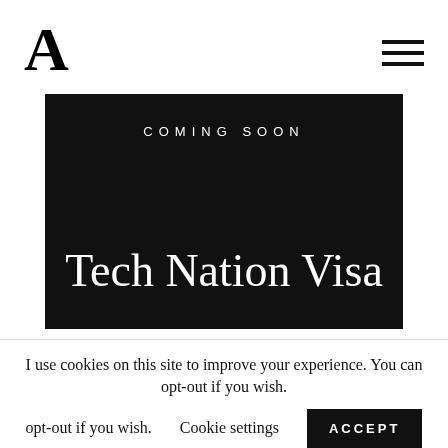A
[Figure (screenshot): Dark banner with 'COMING SOON' text above and large serif title 'Tech Nation Visa']
I use cookies on this site to improve your experience. You can opt-out if you wish.
Cookie settings
ACCEPT